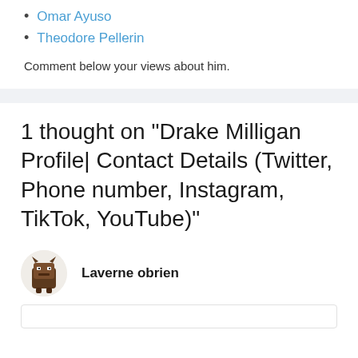Omar Ayuso
Theodore Pellerin
Comment below your views about him.
1 thought on “Drake Milligan Profile| Contact Details (Twitter, Phone number, Instagram, TikTok, YouTube)”
Laverne obrien
[Figure (illustration): Avatar icon of a small cartoon monster character in brown/dark color with horns, used as commenter profile picture]